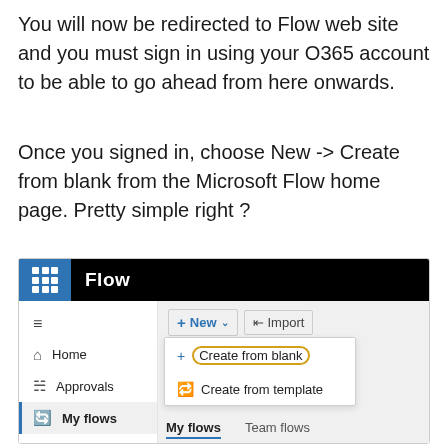You will now be redirected to Flow web site and you must sign in using your O365 account to be able to go ahead from here onwards.
Once you signed in, choose New -> Create from blank from the Microsoft Flow home page. Pretty simple right ?
[Figure (screenshot): Screenshot of Microsoft Flow web UI showing the navigation bar with Flow branding, left sidebar with Home, Approvals, My flows items, and a dropdown from the New button showing 'Create from blank' (circled in orange) and 'Create from template', plus My flows and Team flows tabs.]